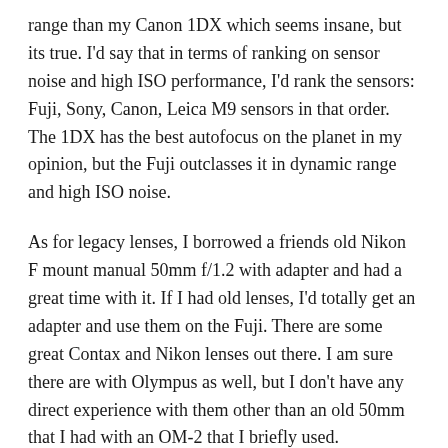range than my Canon 1DX which seems insane, but its true. I'd say that in terms of ranking on sensor noise and high ISO performance, I'd rank the sensors: Fuji, Sony, Canon, Leica M9 sensors in that order. The 1DX has the best autofocus on the planet in my opinion, but the Fuji outclasses it in dynamic range and high ISO noise.
As for legacy lenses, I borrowed a friends old Nikon F mount manual 50mm f/1.2 with adapter and had a great time with it. If I had old lenses, I'd totally get an adapter and use them on the Fuji. There are some great Contax and Nikon lenses out there. I am sure there are with Olympus as well, but I don't have any direct experience with them other than an old 50mm that I had with an OM-2 that I briefly used.
↩ Reply